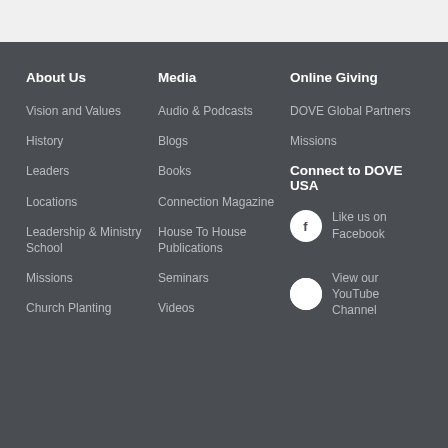About Us
Vision and Values
History
Leaders
Locations
Leadership & Ministry School
Missions
Church Planting
Media
Audio & Podcasts
Blogs
Books
Connection Magazine
House To House Publications
Seminars
Videos
Online Giving
DOVE Global Partners
Missions
Connect to DOVE USA
Like us on Facebook
View our YouTube Channel